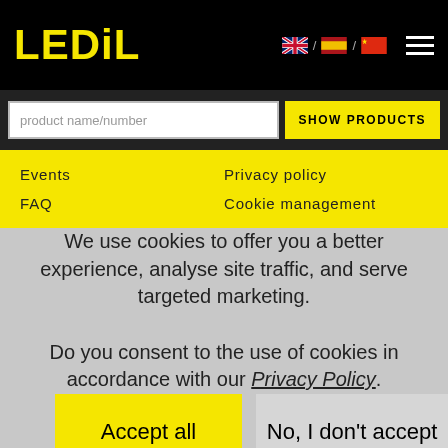LEDiL
product name/number
SHOW PRODUCTS
Events
FAQ
Privacy policy
Cookie management
We use cookies to offer you a better experience, analyse site traffic, and serve targeted marketing. Do you consent to the use of cookies in accordance with our Privacy Policy.
Accept all
No, I don't accept
Manage settings